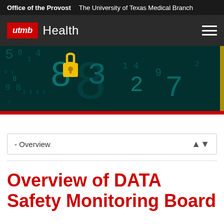Office of the Provost   The University of Texas Medical Branch
[Figure (logo): UTMB Health logo with red box containing italic 'utmb' text and 'Health' text in white on dark background, with hamburger menu icon]
[Figure (photo): Dark teal background with digital numbers and a glowing yellow padlock icon, representing data security]
- Overview
Overview of DATA Safety Monitoring Board